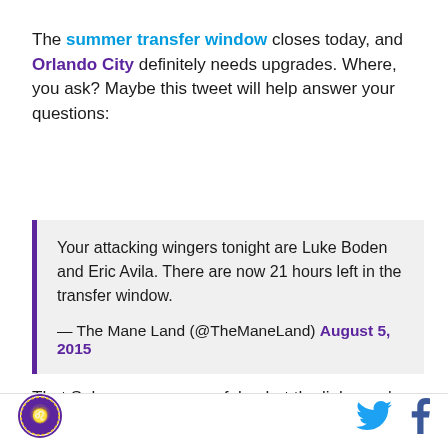The summer transfer window closes today, and Orlando City definitely needs upgrades. Where, you ask? Maybe this tweet will help answer your questions:
Your attacking wingers tonight are Luke Boden and Eric Avila. There are now 21 hours left in the transfer window.

— The Mane Land (@TheManeLand) August 5, 2015
That Subway promo was fake, but the links you're
[Figure (logo): Orlando City SC circular logo with lion emblem in purple and gold]
[Figure (other): Twitter bird icon in blue]
[Figure (other): Facebook f icon in dark blue]